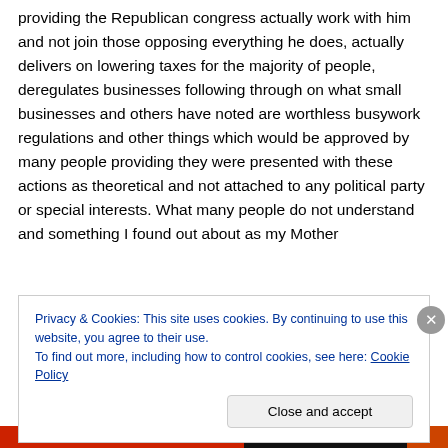providing the Republican congress actually work with him and not join those opposing everything he does, actually delivers on lowering taxes for the majority of people, deregulates businesses following through on what small businesses and others have noted are worthless busywork regulations and other things which would be approved by many people providing they were presented with these actions as theoretical and not attached to any political party or special interests. What many people do not understand and something I found out about as my Mother
Privacy & Cookies: This site uses cookies. By continuing to use this website, you agree to their use. To find out more, including how to control cookies, see here: Cookie Policy